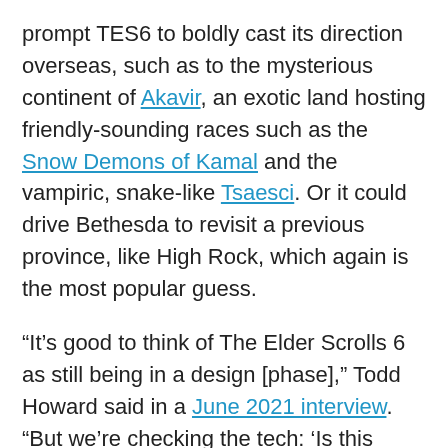prompt TES6 to boldly cast its direction overseas, such as to the mysterious continent of Akavir, an exotic land hosting friendly-sounding races such as the Snow Demons of Kamal and the vampiric, snake-like Tsaesci. Or it could drive Bethesda to revisit a previous province, like High Rock, which again is the most popular guess.
“It’s good to think of The Elder Scrolls 6 as still being in a design [phase],” Todd Howard said in a June 2021 interview. “But we’re checking the tech: ‘Is this going to handle the things we want to do in that game?’ Every game will have some new suites of technology so Elder Scrolls 6 will have some additions on to Creation Engine 2 that that game is going to require.”